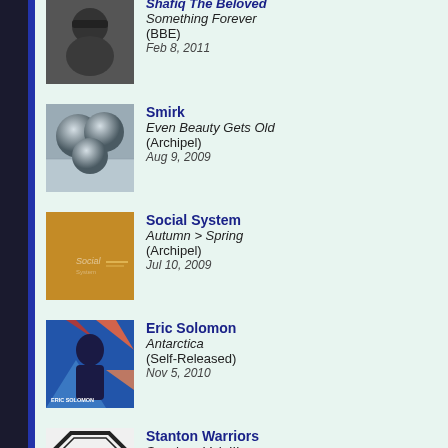Shafiq The Beloved – Something Forever (BBE) Feb 8, 2011
Smirk – Even Beauty Gets Old (Archipel) Aug 9, 2009
Social System – Autumn > Spring (Archipel) Jul 10, 2009
Eric Solomon – Antarctica (Self-Released) Nov 5, 2010
Stanton Warriors – Sessions Vol. III (Fabric) Dec 2, 2008
Static Revenger – Love Song Surprise